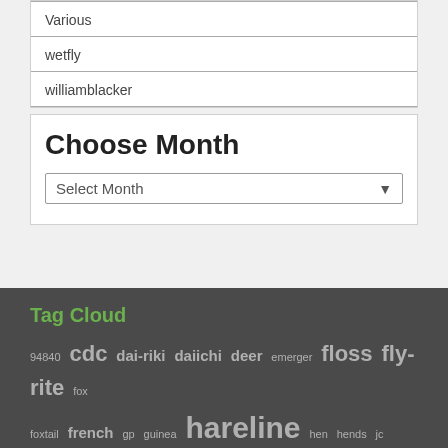Various
wetfly
williamblacker
Choose Month
Select Month
Tag Cloud
94840 cdc dai-riki daiichi deer emerger floss fly-rite fox foxtail french gp guinea hareline hen hends jc jungle cock kamasan knapek lagartun mallard midge mustad